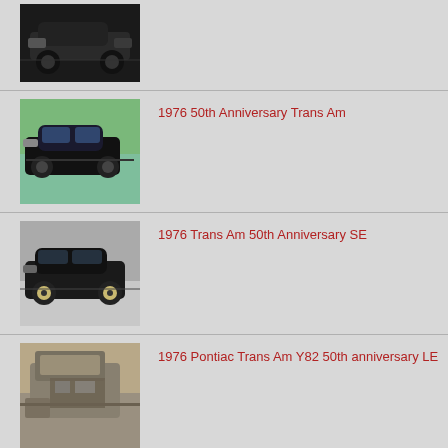[Figure (photo): Black muscle car (Trans Am) front three-quarter view, dark background]
[Figure (photo): 1976 50th Anniversary Trans Am, black car parked in suburban setting]
1976 50th Anniversary Trans Am
[Figure (photo): 1976 Trans Am 50th Anniversary SE, dark car side view in garage]
1976 Trans Am 50th Anniversary SE
[Figure (photo): 1976 Pontiac Trans Am Y82 50th anniversary LE, hood open showing engine]
1976 Pontiac Trans Am Y82 50th anniversary LE